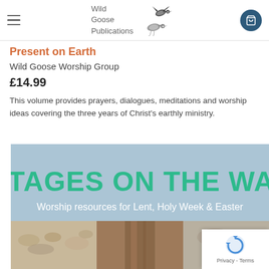Wild Goose Publications
Present on Earth
Wild Goose Worship Group
£14.99
This volume provides prayers, dialogues, meditations and worship ideas covering the three years of Christ's earthly ministry.
[Figure (photo): Book cover for 'Stages on the Way – Worship resources for Lent, Holy Week & Easter' with teal/green title text on a blue-grey background, and photo panels of stones, wood, and earth textures.]